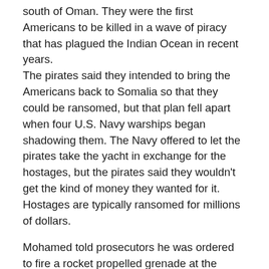south of Oman. They were the first Americans to be killed in a wave of piracy that has plagued the Indian Ocean in recent years. The pirates said they intended to bring the Americans back to Somalia so that they could be ransomed, but that plan fell apart when four U.S. Navy warships began shadowing them. The Navy offered to let the pirates take the yacht in exchange for the hostages, but the pirates said they wouldn't get the kind of money they wanted for it. Hostages are typically ransomed for millions of dollars.
Mohamed told prosecutors he was ordered to fire a rocket propelled grenade at the American warships to keep them away from the Quest. Court documents say that in doing so, he inadvertently killed one of the pirates who was standing too close behind him. Shortly after the RPG was